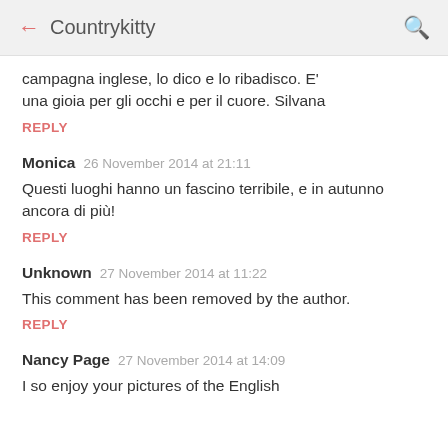← Countrykitty 🔍
campagna inglese, lo dico e lo ribadisco. E' una gioia per gli occhi e per il cuore. Silvana
REPLY
Monica  26 November 2014 at 21:11
Questi luoghi hanno un fascino terribile, e in autunno ancora di più!
REPLY
Unknown  27 November 2014 at 11:22
This comment has been removed by the author.
REPLY
Nancy Page  27 November 2014 at 14:09
I so enjoy your pictures of the English